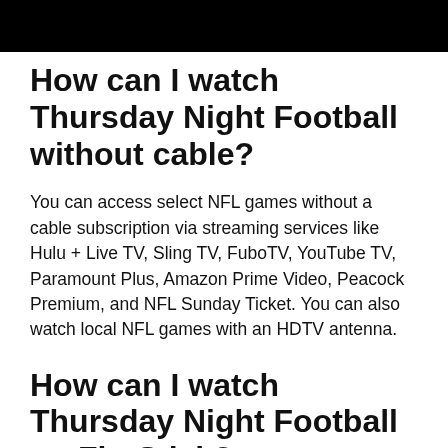[Figure (other): Black banner/header bar]
How can I watch Thursday Night Football without cable?
You can access select NFL games without a cable subscription via streaming services like Hulu + Live TV, Sling TV, FuboTV, YouTube TV, Paramount Plus, Amazon Prime Video, Peacock Premium, and NFL Sunday Ticket. You can also watch local NFL games with an HDTV antenna.
How can I watch Thursday Night Football on FireStick?
You can also watch Thursday Night...